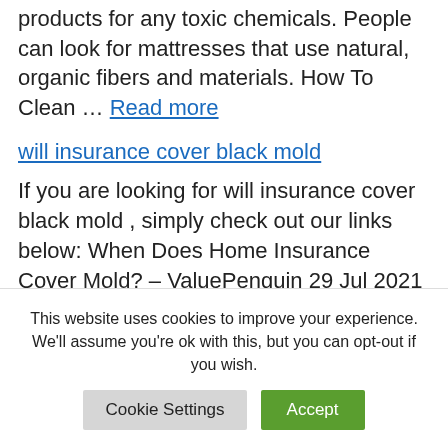products for any toxic chemicals. People can look for mattresses that use natural, organic fibers and materials. How To Clean … Read more
will insurance cover black mold
If you are looking for will insurance cover black mold , simply check out our links below: When Does Home Insurance Cover Mold? – ValuePenguin 29 Jul 2021 … Homeowners insurance policies often include vague wording
This website uses cookies to improve your experience. We'll assume you're ok with this, but you can opt-out if you wish.